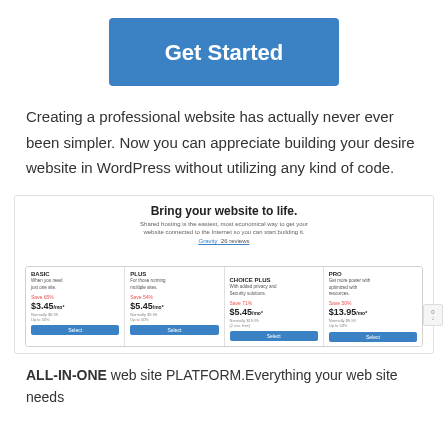Get Started
Creating a professional website has actually never ever been simpler. Now you can appreciate building your desire website in WordPress without utilizing any kind of code.
[Figure (screenshot): Screenshot of a web hosting pricing page titled 'Bring your website to life.' with four plan columns: BASIC $3.45/mo, PLUS $5.45/mo, CHOICE PLUS $5.45/mo (RECOMMENDED), PRO $13.95/mo, each with Save percentages and Select buttons.]
ALL-IN-ONE web site PLATFORM.Everything your web site needs